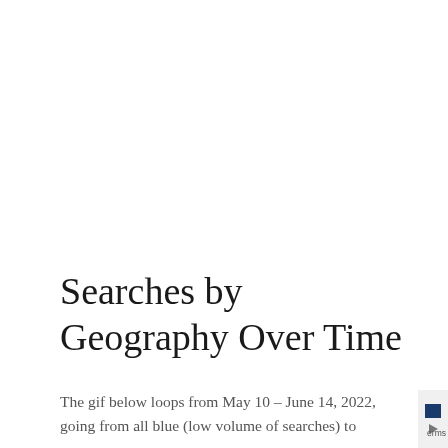Searches by Geography Over Time
The gif below loops from May 10 – June 14, 2022, going from all blue (low volume of searches) to